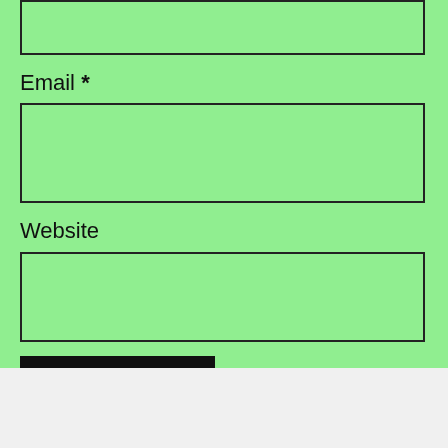[Figure (screenshot): Web form input box (top, partially visible) on green background]
Email *
[Figure (screenshot): Email input text field on green background]
Website
[Figure (screenshot): Website input text field on green background]
[Figure (screenshot): POST COMMENT button, black background with green text]
Advertisements
[Figure (screenshot): Day One app advertisement banner: 'Your Journal for life' on cyan/blue background with phone image and Day One logo]